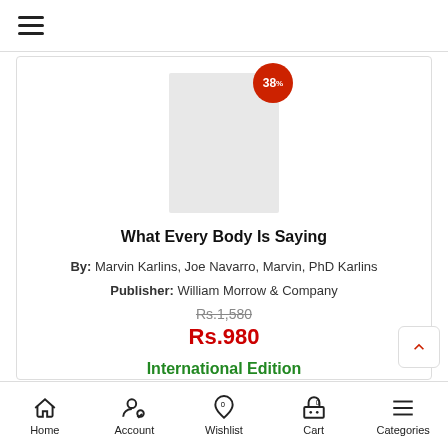≡ (hamburger menu)
[Figure (illustration): Book cover placeholder (light grey rectangle) with a red circular badge showing '38%' discount]
What Every Body Is Saying
By: Marvin Karlins, Joe Navarro, Marvin, PhD Karlins
Publisher: William Morrow & Company
Rs.1,580 (strikethrough original price)
Rs.980 (sale price in red)
International Edition
Ships within 18-20 Days
Home  Account  Wishlist  Cart  Categories